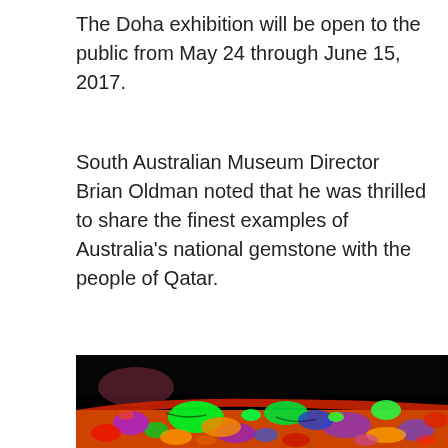The Doha exhibition will be open to the public from May 24 through June 15, 2017.
South Australian Museum Director Brian Oldman noted that he was thrilled to share the finest examples of Australia's national gemstone with the people of Qatar.
[Figure (photo): Close-up fluorescent photograph of an opal gemstone under UV light, showing vivid neon green, red, purple, orange, blue and yellow colors against a black background, with the curved edge of the stone visible.]